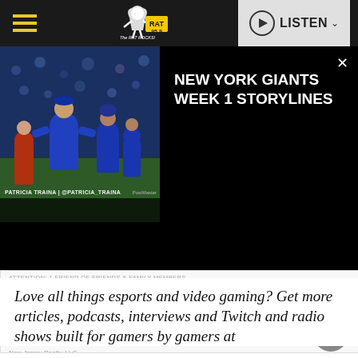RAT 95.9 The RAT ROCKS! — LISTEN
[Figure (screenshot): Video popup showing New York Giants football players in blue uniforms on sideline, with overlay text panel]
NEW YORK GIANTS WEEK 1 STORYLINES
[Figure (other): Advertisement: EMT's and HEATH CARE PROVIDERS - Want to save thousands - shopping for holiday chrome? - CALL ME TODAY! Matt Gorham New Jersey Realty LLC 732-406-8947]
Love all things esports and video gaming? Get more articles, podcasts, interviews and Twitch and radio shows built for gamers by gamers at